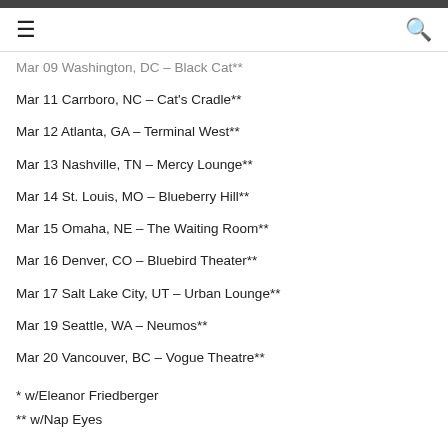≡  🔍
Mar 09 Washington, DC – Black Cat**
Mar 11 Carrboro, NC – Cat's Cradle**
Mar 12 Atlanta, GA – Terminal West**
Mar 13 Nashville, TN – Mercy Lounge**
Mar 14 St. Louis, MO – Blueberry Hill**
Mar 15 Omaha, NE – The Waiting Room**
Mar 16 Denver, CO – Bluebird Theater**
Mar 17 Salt Lake City, UT – Urban Lounge**
Mar 19 Seattle, WA – Neumos**
Mar 20 Vancouver, BC – Vogue Theatre**
* w/Eleanor Friedberger
** w/Nap Eyes
EU TOUR: